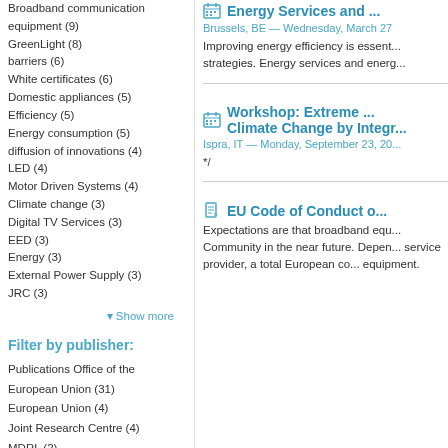Broadband communication equipment (9)
GreenLight (8)
barriers (6)
White certificates (6)
Domestic appliances (5)
Efficiency (5)
Energy consumption (5)
diffusion of innovations (4)
LED (4)
Motor Driven Systems (4)
Climate change (3)
Digital TV Services (3)
EED (3)
Energy (3)
External Power Supply (3)
JRC (3)
Show more
Filter by publisher:
Publications Office of the European Union (31)
European Union (4)
Joint Research Centre (4)
MDRL (2)
Energy Services and ...
Brussels, BE — Wednesday, March 27
Improving energy efficiency is essent... strategies. Energy services and energ...
Workshop: Extreme ... Climate Change by Integr...
Ispra, IT — Monday, September 23, 20...
*/
EU Code of Conduct o...
Expectations are that broadband equ... Community in the near future. Depen... service provider, a total European co... equipment.